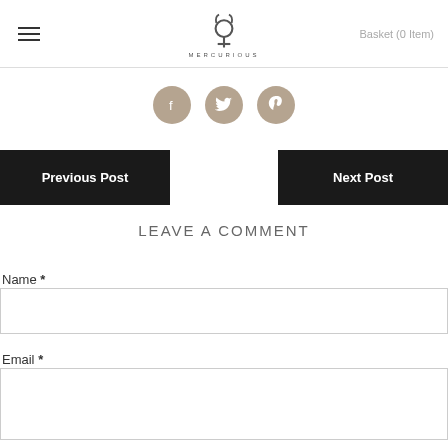MERCURIOUS — Basket (0 Item)
[Figure (other): Social sharing icons: Facebook, Twitter, Pinterest — circular tan/brown buttons]
Previous Post
Next Post
LEAVE A COMMENT
Name *
Email *